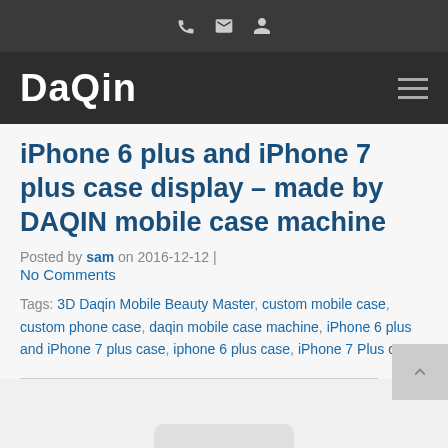DaQin [navigation icons: phone, mail, person]
iPhone 6 plus and iPhone 7 plus case display – made by DAQIN mobile case machine
Posted by sam on 2016-12-12 | No Comments
Tags: 3D Daqin Mobile Beauty Master, custom mobile case, custom phone case, daqin mobile case machine, iPhone 6 plus and iPhone 7 plus case, iphone 6 plus case, iPhone 7 Plus case